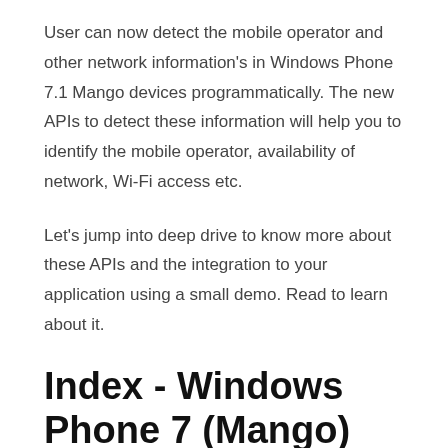User can now detect the mobile operator and other network information's in Windows Phone 7.1 Mango devices programmatically. The new APIs to detect these information will help you to identify the mobile operator, availability of network, Wi-Fi access etc.
Let's jump into deep drive to know more about these APIs and the integration to your application using a small demo. Read to learn about it.
Index - Windows Phone 7 (Mango) Tutorial